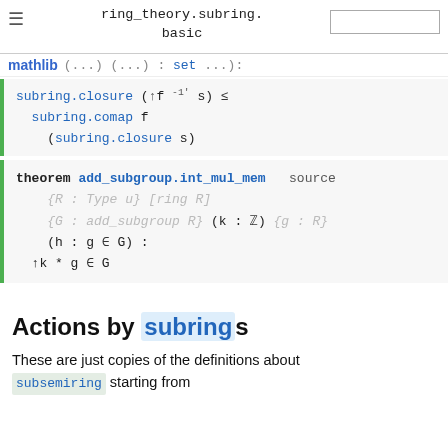ring_theory.subring.basic
Actions by subrings
These are just copies of the definitions about subsemiring starting from